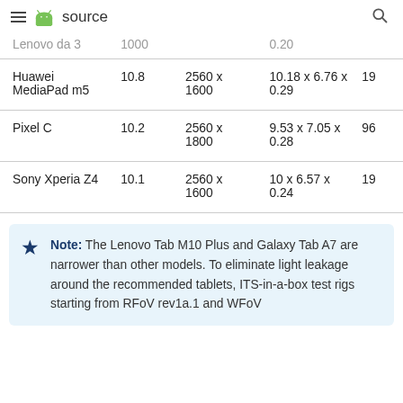≡ android source 🔍
| Device | Size | Resolution | Dimensions |  |
| --- | --- | --- | --- | --- |
| Lenovo ... | 1000 | 0.20 |  |  |
| Huawei MediaPad m5 | 10.8 | 2560 x 1600 | 10.18 x 6.76 x 0.29 | 19 |
| Pixel C | 10.2 | 2560 x 1800 | 9.53 x 7.05 x 0.28 | 96 |
| Sony Xperia Z4 | 10.1 | 2560 x 1600 | 10 x 6.57 x 0.24 | 19 |
Note: The Lenovo Tab M10 Plus and Galaxy Tab A7 are narrower than other models. To eliminate light leakage around the recommended tablets, ITS-in-a-box test rigs starting from RFoV rev1a.1 and WFoV